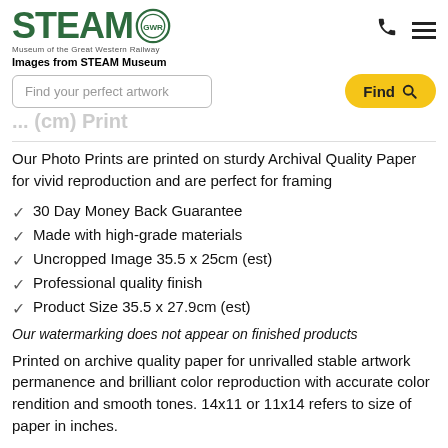STEAM GWR Museum of the Great Western Railway
Images from STEAM Museum
[Figure (screenshot): Search bar with placeholder 'Find your perfect artwork' and yellow 'Find' button with magnifying glass icon]
... (cm) Print
Our Photo Prints are printed on sturdy Archival Quality Paper for vivid reproduction and are perfect for framing
30 Day Money Back Guarantee
Made with high-grade materials
Uncropped Image 35.5 x 25cm (est)
Professional quality finish
Product Size 35.5 x 27.9cm (est)
Our watermarking does not appear on finished products
Printed on archive quality paper for unrivalled stable artwork permanence and brilliant color reproduction with accurate color rendition and smooth tones. 14x11 or 11x14 refers to size of paper in inches.